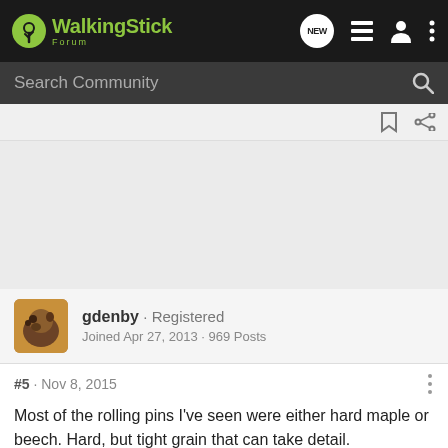[Figure (screenshot): WalkingStick Forum navigation bar with logo, NEW button, list icon, user icon, and more icon]
[Figure (screenshot): Search Community input bar with search icon]
[Figure (screenshot): Toolbar row with bookmark and share icons]
[Figure (screenshot): Gray advertisement placeholder area]
gdenby · Registered
Joined Apr 27, 2013 · 969 Posts
#5 · Nov 8, 2015
Most of the rolling pins I've seen were either hard maple or beech. Hard, but tight grain that can take detail.